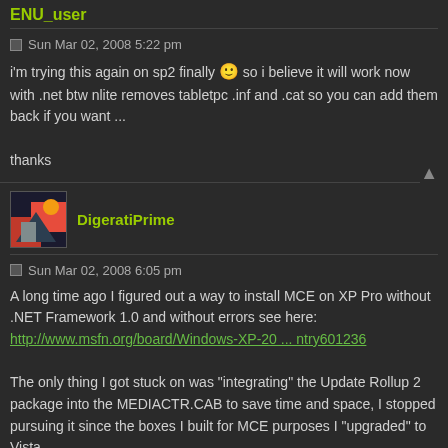ENU_user
Sun Mar 02, 2008 5:22 pm
i'm trying this again on sp2 finally 🙂 so i believe it will work now with .net btw nlite removes tabletpc .inf and .cat so you can add them back if you want ...

thanks
DigeratiPrime
Sun Mar 02, 2008 6:05 pm
A long time ago I figured out a way to install MCE on XP Pro without .NET Framework 1.0 and without errors see here:
http://www.msfn.org/board/Windows-XP-20 ... ntry601236

The only thing I got stuck on was "integrating" the Update Rollup 2 package into the MEDIACTR.CAB to save time and space, I stopped pursuing it since the boxes I built for MCE purposes I "upgraded" to Vista